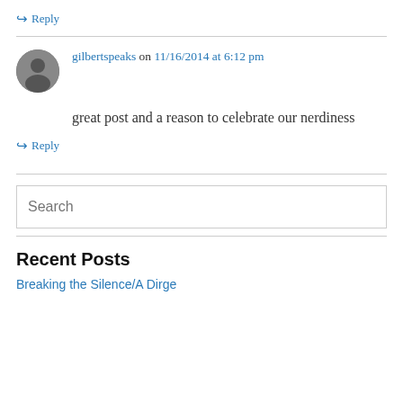↳ Reply
gilbertspeaks on 11/16/2014 at 6:12 pm
great post and a reason to celebrate our nerdiness
↳ Reply
Recent Posts
Breaking the Silence/A Dirge